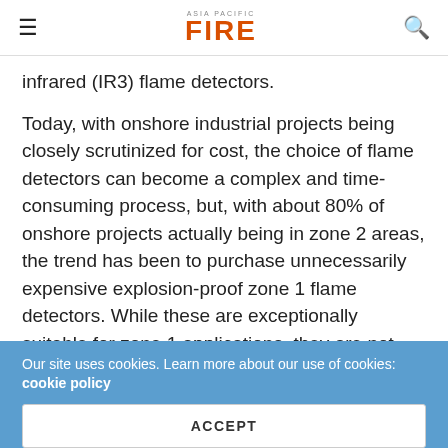ASIA PACIFIC FIRE
infrared (IR3) flame detectors.
Today, with onshore industrial projects being closely scrutinized for cost, the choice of flame detectors can become a complex and time-consuming process, but, with about 80% of onshore projects actually being in zone 2 areas, the trend has been to purchase unnecessarily expensive explosion-proof zone 1 flame detectors. While these are exceptionally suitable for zone 1 applications, they are not cost effective for zone 2 and until recently there have been few suitable
Our site uses cookies. Learn more about our use of cookies: cookie policy
ACCEPT